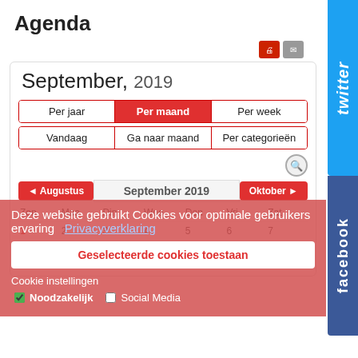Agenda
[Figure (screenshot): Calendar interface for September 2019 with navigation buttons (Per jaar, Per maand, Per week), (Vandaag, Ga naar maand, Per categorieën), search icon, month navigation (Augustus, September 2019, Oktober), day headers and date grid.]
Deze website gebruikt Cookies voor optimale gebruikers ervaring   Privacyverklaring
Geselecteerde cookies toestaan
Cookie instellingen
Noodzakelijk   Social Media